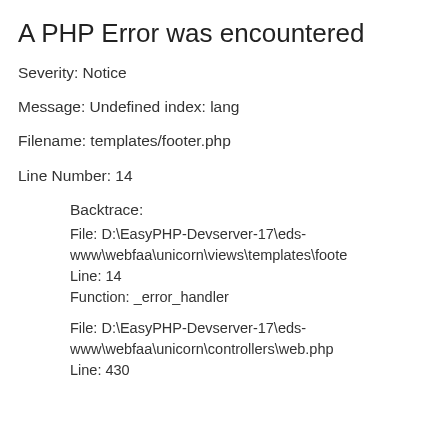A PHP Error was encountered
Severity: Notice
Message: Undefined index: lang
Filename: templates/footer.php
Line Number: 14
Backtrace:
File: D:\EasyPHP-Devserver-17\eds-www\webfaa\unicorn\views\templates\foote
Line: 14
Function: _error_handler
File: D:\EasyPHP-Devserver-17\eds-www\webfaa\unicorn\controllers\web.php
Line: 430